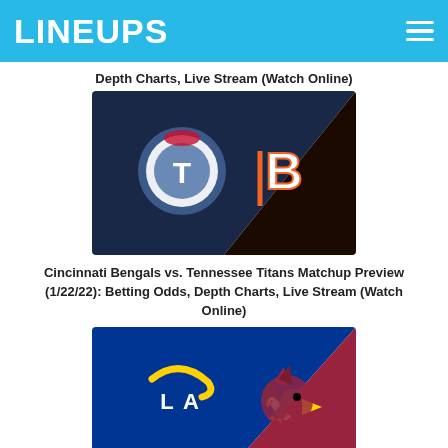LINEUPS
Depth Charts, Live Stream (Watch Online)
[Figure (photo): Matchup image showing Tennessee Titans logo (left, dark blue background) vs Cincinnati Bengals logo (right, dark/black background)]
Cincinnati Bengals vs. Tennessee Titans Matchup Preview (1/22/22): Betting Odds, Depth Charts, Live Stream (Watch Online)
[Figure (photo): Matchup image showing Los Angeles Rams logo (left, blue background) vs Arizona Cardinals logo (right, red background)]